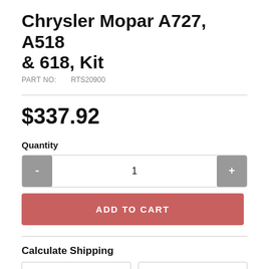Chrysler Mopar A727, A518 & 618, Kit
PART NO:      RTS20900
$337.92
Quantity
- 1 +
ADD TO CART
Calculate Shipping